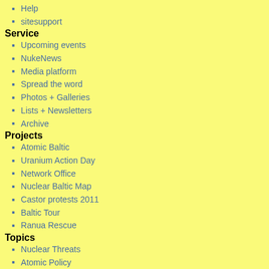Help
sitesupport
Service
Upcoming events
NukeNews
Media platform
Spread the word
Photos + Galleries
Lists + Newsletters
Archive
Projects
Atomic Baltic
Uranium Action Day
Network Office
Nuclear Baltic Map
Castor protests 2011
Baltic Tour
Ranua Rescue
Topics
Nuclear Threats
Atomic Policy
EURATOM
Accidents
Climate
Radiation